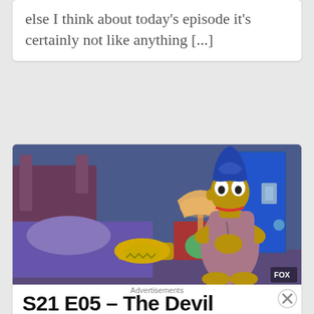else I think about today's episode it's certainly not like anything [...]
[Figure (screenshot): Scene from The Simpsons showing Marge Simpson kneeling by the bed in a bedroom, with a lamp on the nightstand and Homer's feet visible on the bed. The room has a blue/purple color scheme with the FOX network logo in the bottom right corner.]
S21 E05 – The Devil Wears Nada
Advertisements